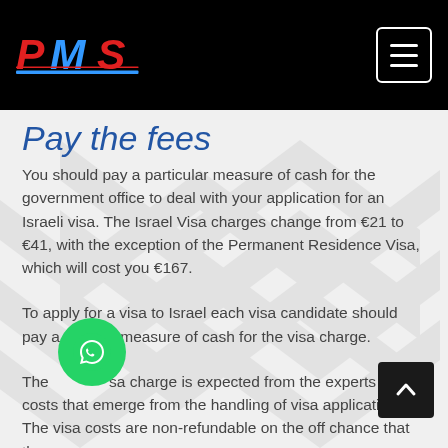PMS [logo] — navigation header with menu button
Pay the fees
You should pay a particular measure of cash for the government office to deal with your application for an Israeli visa. The Israel Visa charges change from €21 to €41, with the exception of the Permanent Residence Visa, which will cost you €167.
To apply for a visa to Israel each visa candidate should pay a specific measure of cash for the visa charge.
The visa charge is expected from the experts to the costs that emerge from the handling of visa applications. The visa costs are non-refundable on the off chance that the